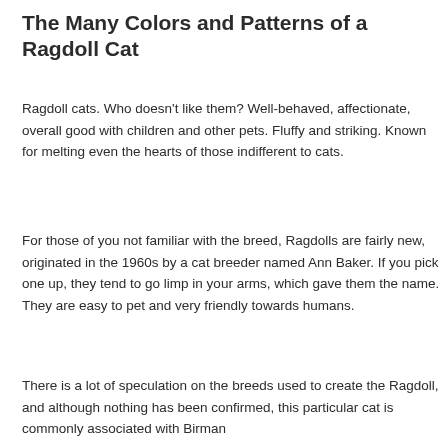The Many Colors and Patterns of a Ragdoll Cat
Ragdoll cats. Who doesn't like them? Well-behaved, affectionate, overall good with children and other pets. Fluffy and striking. Known for melting even the hearts of those indifferent to cats.
For those of you not familiar with the breed, Ragdolls are fairly new, originated in the 1960s by a cat breeder named Ann Baker. If you pick one up, they tend to go limp in your arms, which gave them the name. They are easy to pet and very friendly towards humans.
There is a lot of speculation on the breeds used to create the Ragdoll, and although nothing has been confirmed, this particular cat is commonly associated with Birman